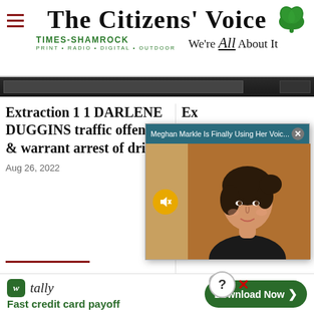The Citizens' Voice — Times-Shamrock Print • Radio • Digital • Outdoor — We're All About It
[Figure (photo): Dark banner image strip across the page]
Extraction 1 1 DARLENE DUGGINS traffic offenses & warrant arrest of driver
Aug 26, 2022
[Figure (screenshot): Video popup overlay showing 'Meghan Markle Is Finally Using Her Voic...' with photo of woman and mute button, with X close button]
Ex
Aug
[Figure (infographic): Bottom advertisement banner: Tally app — Fast credit card payoff, with Download Now button and ad close controls]